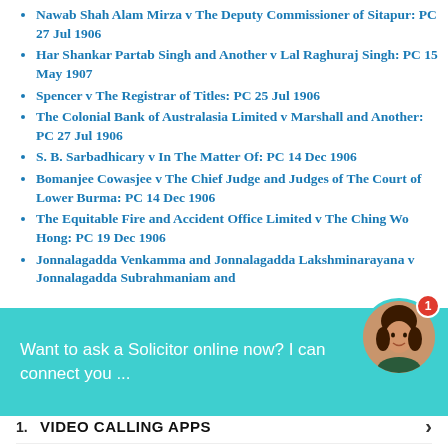Nawab Shah Alam Mirza v The Deputy Commissioner of Sitapur: PC 27 Jul 1906
Har Shankar Partab Singh and Another v Lal Raghuraj Singh: PC 15 May 1907
Spencer v The Registrar of Titles: PC 25 Jul 1906
The Colonial Bank of Australasia Limited v Marshall and Another: PC 27 Jul 1906
S. B. Sarbadhicary v In The Matter Of: PC 14 Dec 1906
Bomanjee Cowasjee v The Chief Judge and Judges of The Court of Lower Burma: PC 14 Dec 1906
The Equitable Fire and Accident Office Limited v The Ching Wo Hong: PC 19 Dec 1906
Jonnalagadda Venkamma and Jonnalagadda Lakshminarayana v Jonnalagadda Subrahmaniam and [truncated]: PC 19 Dec 1906
[Figure (screenshot): Chat widget overlay: teal/cyan background with text 'Want to ask a Solicitor online now? I can connect you ...' and a circular avatar of a woman with a red notification badge showing 1]
Search for
1. VIDEO CALLING APPS ›
2. LIVE STREAMING SPORTS ›
Yahoo! Search | Sponsored